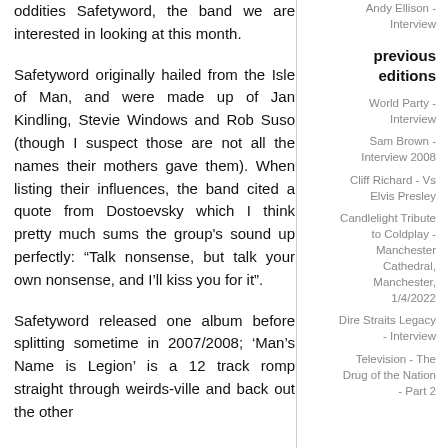oddities Safetyword, the band we are interested in looking at this month.
Safetyword originally hailed from the Isle of Man, and were made up of Jan Kindling, Stevie Windows and Rob Suso (though I suspect those are not all the names their mothers gave them). When listing their influences, the band cited a quote from Dostoevsky which I think pretty much sums the group's sound up perfectly: “Talk nonsense, but talk your own nonsense, and I’ll kiss you for it”.
Safetyword released one album before splitting sometime in 2007/2008; ‘Man’s Name is Legion’ is a 12 track romp straight through weirds-ville and back out the other
Andy Ellison - Interview
previous editions
World Party - Interview
Sam Brown - Interview 2008
Cliff Richard - Vs Elvis Presley
Candlelight Tribute to Coldplay - Manchester Cathedral, Manchester, 1/4/2022
Dire Straits Legacy - Interview
Television - The Drug of the Nation - Part 2